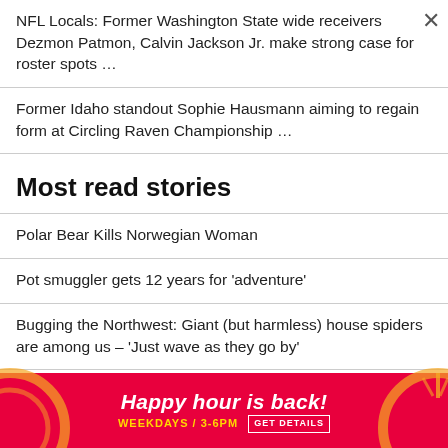NFL Locals: Former Washington State wide receivers Dezmon Patmon, Calvin Jackson Jr. make strong case for roster spots …
Former Idaho standout Sophie Hausmann aiming to regain form at Circling Raven Championship …
Most read stories
Polar Bear Kills Norwegian Woman
Pot smuggler gets 12 years for 'adventure'
Bugging the Northwest: Giant (but harmless) house spiders are among us – 'Just wave as they go by'
Second … rthwest
[Figure (infographic): Advertisement banner: Happy hour is back! Weekdays / 3-6PM GET DETAILS, red background with decorative circular shapes on left and right]